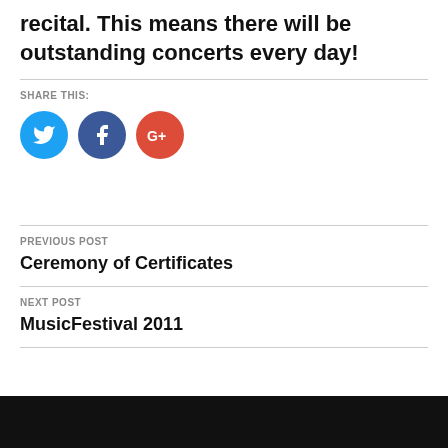recital. This means there will be outstanding concerts every day!
SHARE THIS:
[Figure (other): Three social media share buttons: Twitter (blue circle with bird icon), Facebook (dark blue circle with f icon), Google+ (red circle with G+ icon)]
PREVIOUS POST
Ceremony of Certificates
NEXT POST
MusicFestival 2011